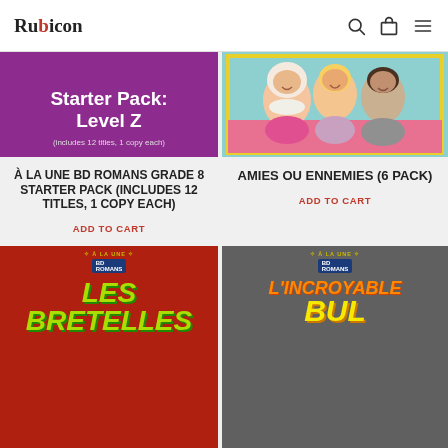Rubicon
[Figure (screenshot): Purple background book starter pack image showing 'Starter Pack: Level Z (includes 12 titles, 1 copy each)']
[Figure (illustration): Illustration of three girls — one with hijab, one blonde, one with short dark hair — smiling together]
À LA UNE BD ROMANS GRADE 8 STARTER PACK (INCLUDES 12 TITLES, 1 COPY EACH)
ADD TO CART
AMIES OU ENNEMIES (6 PACK)
ADD TO CART
[Figure (screenshot): À la une BD series book cover — Les Bretelles, red background with green title text]
[Figure (screenshot): À la une BD series book cover — L'incroyable Bull, dark background with orange/yellow title text]